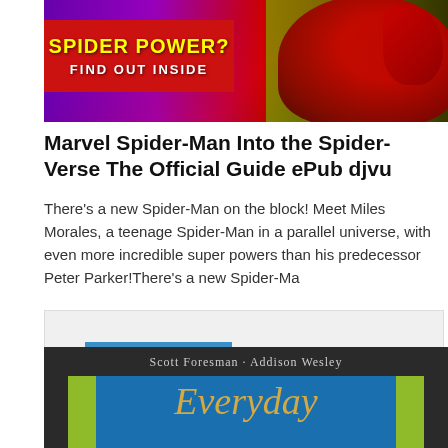[Figure (photo): Spider-Man Into the Spider-Verse promotional banner with purple, red, and dark background with dotted pattern. Yellow text reads 'SPIDER POWER?' and white text reads 'FIND OUT INSIDE' on a red box. Spider-Man character visible on right side.]
Marvel Spider-Man Into the Spider-Verse The Official Guide ePub djvu
There's a new Spider-Man on the block! Meet Miles Morales, a teenage Spider-Man in a parallel universe, with even more incredible super powers than his predecessor Peter Parker!There's a new Spider-Ma
[Figure (other): Read more button (blue rectangular button with white bold text 'Read more') on a light gray background panel]
[Figure (photo): Bottom portion of a book cover for 'Scott Foresman-Addison Wesley Everyday' textbook. Dark brown background with blue center and green side bars. Title 'Everyday' visible in gold italic serif font.]